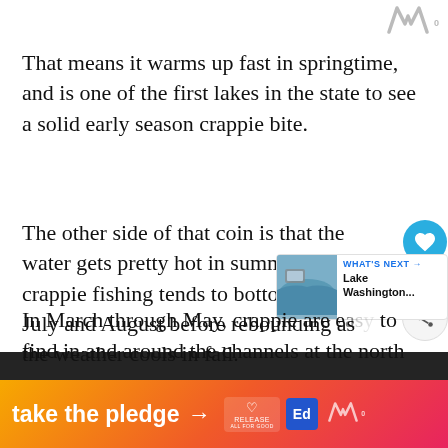[Figure (logo): Watermark or logo mark in top right corner, dark gray stylized 'W' shape]
That means it warms up fast in springtime, and is one of the first lakes in the state to see a solid early season crappie bite.
The other side of that coin is that the water gets pretty hot in summer, and crappie fishing tends to bottom out in July and August before rebounding as the weather cools in fall.
In March through May, crappie are easy to find in and around the channels at the north
[Figure (infographic): What's Next panel showing Lake Washington thumbnail image with text 'WHAT'S NEXT → Lake Washington...']
[Figure (infographic): Bottom orange/gradient banner with 'take the pledge →' text and Release app logo and Ed logo]